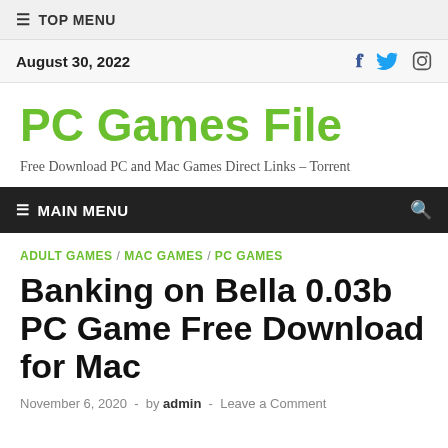≡ TOP MENU
August 30, 2022
PC Games File
Free Download PC and Mac Games Direct Links – Torrent
≡ MAIN MENU
ADULT GAMES / MAC GAMES / PC GAMES
Banking on Bella 0.03b PC Game Free Download for Mac
November 6, 2020  -  by admin  -  Leave a Comment